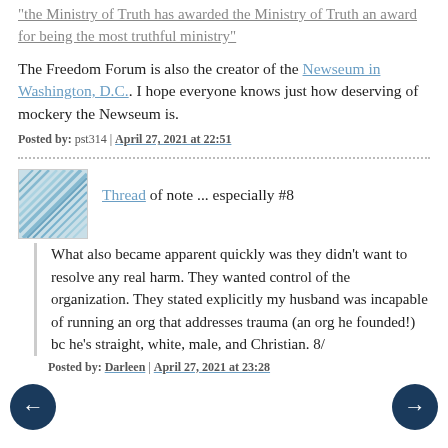"the Ministry of Truth has awarded the Ministry of Truth an award for being the most truthful ministry"
The Freedom Forum is also the creator of the Newseum in Washington, D.C.. I hope everyone knows just how deserving of mockery the Newseum is.
Posted by: pst314 | April 27, 2021 at 22:51
[Figure (illustration): Avatar icon with blue wave/stripe pattern]
Thread of note ... especially #8
What also became apparent quickly was they didn't want to resolve any real harm. They wanted control of the organization. They stated explicitly my husband was incapable of running an org that addresses trauma (an org he founded!) bc he's straight, white, male, and Christian. 8/
Posted by: Darleen | April 27, 2021 at 23:28